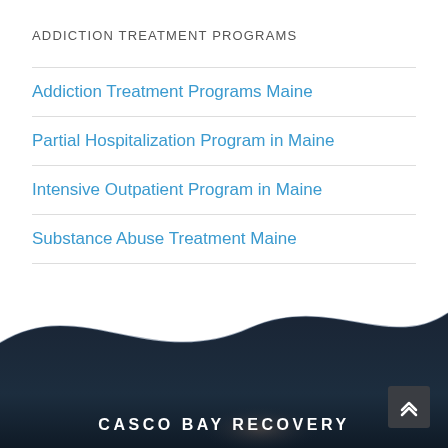ADDICTION TREATMENT PROGRAMS
Addiction Treatment Programs Maine
Partial Hospitalization Program in Maine
Intensive Outpatient Program in Maine
Substance Abuse Treatment Maine
[Figure (illustration): Dark ocean wave scene with blue-tinted water and misty atmosphere at the bottom of the page]
CASCO BAY RECOVERY